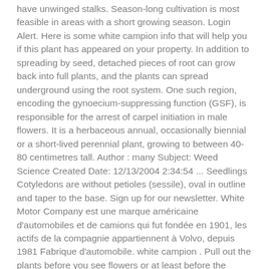have unwinged stalks. Season-long cultivation is most feasible in areas with a short growing season. Login Alert. Here is some white campion info that will help you if this plant has appeared on your property. In addition to spreading by seed, detached pieces of root can grow back into full plants, and the plants can spread underground using the root system. One such region, encoding the gynoecium-suppressing function (GSF), is responsible for the arrest of carpel initiation in male flowers. It is a herbaceous annual, occasionally biennial or a short-lived perennial plant, growing to between 40-80 centimetres tall. Author : many Subject: Weed Science Created Date: 12/13/2004 2:34:54 ... Seedlings Cotyledons are without petioles (sessile), oval in outline and taper to the base. Sign up for our newsletter. White Motor Company est une marque américaine d'automobiles et de camions qui fut fondée en 1901, les actifs de la compagnie appartiennent à Volvo, depuis 1981 Fabrique d'automobile. white campion . Pull out the plants before you see flowers or at least before the